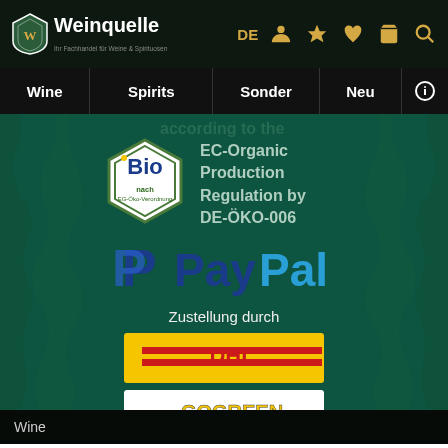Weinquelle — DE — navigation icons
Wine | Spirits | Sonder | Neu | (i)
[Figure (logo): BIO EU organic certification badge with text EG-Öko-Verordnung]
EC-Organic Production Regulation by DE-ÖKO-006
[Figure (logo): PayPal logo in blue]
Zustellung durch
[Figure (logo): DHL logo on yellow background]
[Figure (logo): GOGREEN logo on white background]
Wine